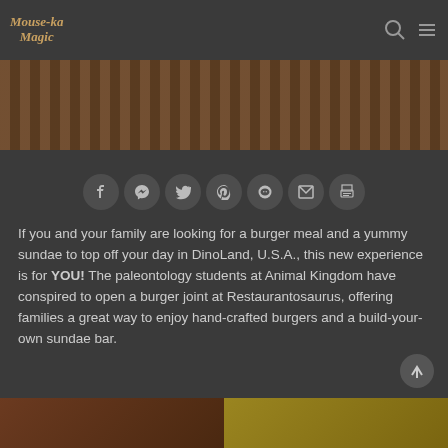Mouse-ka Magic
[Figure (photo): Top image showing wooden or textured background in dark brown tones]
[Figure (infographic): Social share buttons row: Facebook, Messenger, Twitter, Pinterest, Reddit, Email, Print]
If you and your family are looking for a burger meal and a yummy sundae to top off your day in DinoLand, U.S.A., this new experience is for YOU! The paleontology students at Animal Kingdom have conspired to open a burger joint at Restaurantosaurus, offering families a great way to enjoy hand-crafted burgers and a build-your-own sundae bar.
[Figure (photo): Two food photos at bottom: left shows a burger, right shows a sundae or food item with yellow tones]